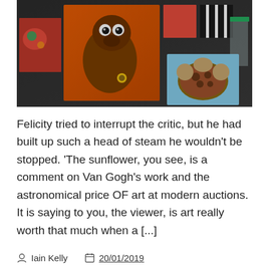[Figure (photo): Photograph of colorful folk art paintings displayed on a dark pegboard wall at what appears to be an outdoor art market or exhibition. Paintings include a large orange kangaroo-like animal, abstract animals, and a turtle.]
Felicity tried to interrupt the critic, but he had built up such a head of steam he wouldn't be stopped. 'The sunflower, you see, is a comment on Van Gogh's work and the astronomical price OF art at modern auctions. It is saying to you, the viewer, is art really worth that much when a [...]
Iain Kelly   20/01/2019